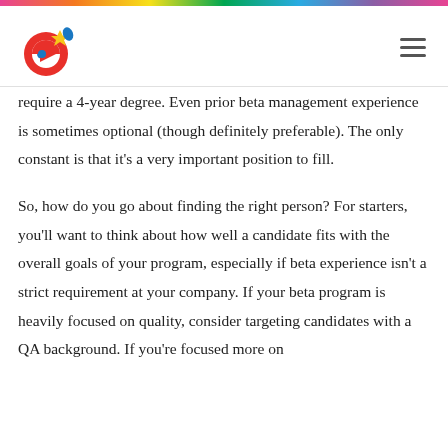[Figure (logo): Colorful circular logo with a stylized bird/play icon in red, blue, and yellow]
require a 4-year degree. Even prior beta management experience is sometimes optional (though definitely preferable). The only constant is that it's a very important position to fill.
So, how do you go about finding the right person? For starters, you'll want to think about how well a candidate fits with the overall goals of your program, especially if beta experience isn't a strict requirement at your company. If your beta program is heavily focused on quality, consider targeting candidates with a QA background. If you're focused more on